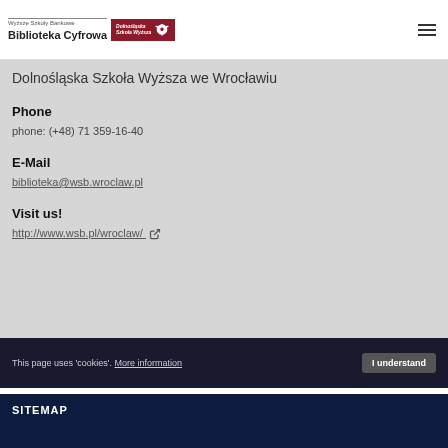Wyższe Szkoły Bankowe | Dolnośląska Szkoła Wyższa | Biblioteka Cyfrowa
Dolnośląska Szkoła Wyższa we Wrocławiu
Phone
phone: (+48) 71 359-16-40
E-Mail
biblioteka@wsb.wroclaw.pl
Visit us!
http://www.wsb.pl/wroclaw/
This page uses 'cookies'. More information  I understand
SITEMAP